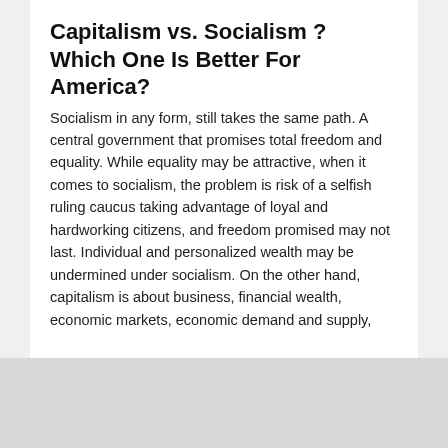Capitalism vs. Socialism ? Which One Is Better For America?
Socialism in any form, still takes the same path. A central government that promises total freedom and equality. While equality may be attractive, when it comes to socialism, the problem is risk of a selfish ruling caucus taking advantage of loyal and hardworking citizens, and freedom promised may not last. Individual and personalized wealth may be undermined under socialism. On the other hand, capitalism is about business, financial wealth, economic markets, economic demand and supply, competition and other factors individual...